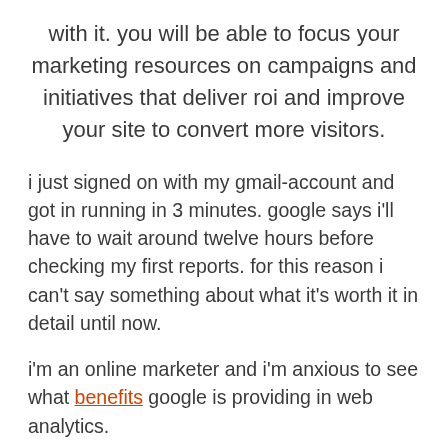with it. you will be able to focus your marketing resources on campaigns and initiatives that deliver roi and improve your site to convert more visitors.
i just signed on with my gmail-account and got in running in 3 minutes. google says i'll have to wait around twelve hours before checking my first reports. for this reason i can't say something about what it's worth it in detail until now.
i'm an online marketer and i'm anxious to see what benefits google is providing in web analytics.
jon henshaw pointed it out to: